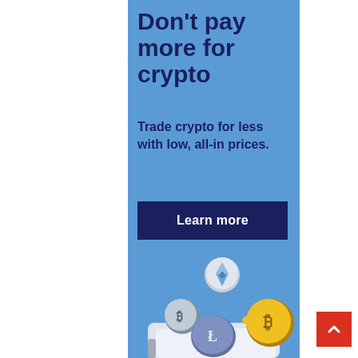Don't pay more for crypto
Trade crypto for less with low, all-in prices.
[Figure (other): Dark navy blue button with white bold text 'Learn more']
[Figure (illustration): Illustration of cryptocurrency coins (Bitcoin, Ethereum, Litecoin, and others) floating above a white wallet on a blue background]
[Figure (other): Red square back-to-top button with white upward chevron arrow]